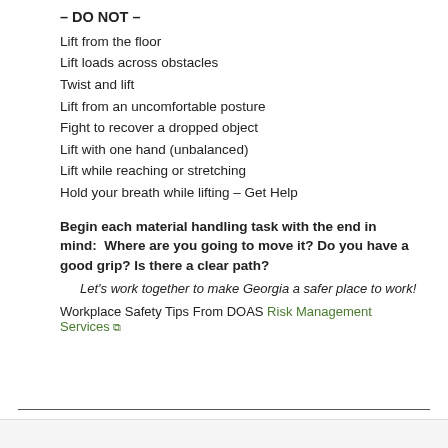– DO NOT –
Lift from the floor
Lift loads across obstacles
Twist and lift
Lift from an uncomfortable posture
Fight to recover a dropped object
Lift with one hand (unbalanced)
Lift while reaching or stretching
Hold your breath while lifting – Get Help
Begin each material handling task with the end in mind:  Where are you going to move it? Do you have a good grip? Is there a clear path?
Let's work together to make Georgia a safer place to work!
Workplace Safety Tips From DOAS Risk Management Services ↗